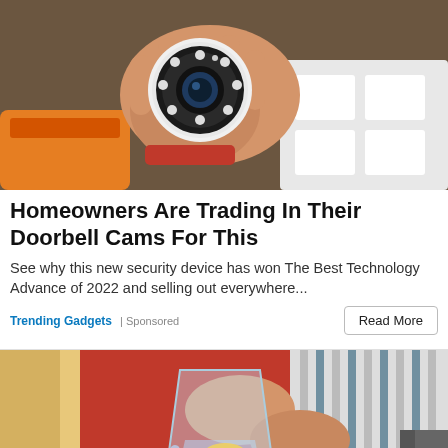[Figure (photo): A hand holding a small white round security camera with LED ring, with orange tool and white packaging in background]
Homeowners Are Trading In Their Doorbell Cams For This
See why this new security device has won The Best Technology Advance of 2022 and selling out everywhere...
Trending Gadgets | Sponsored
[Figure (photo): Person in red outfit and striped shirt pouring water with lemon from a clear pitcher into a glass]